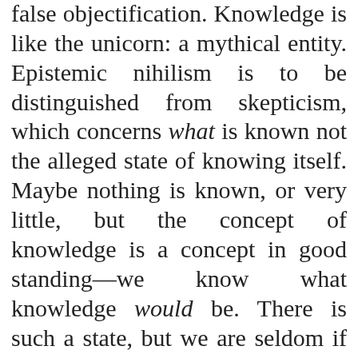much fiction, reification, and false objectification. Knowledge is like the unicorn: a mythical entity. Epistemic nihilism is to be distinguished from skepticism, which concerns what is known not the alleged state of knowing itself. Maybe nothing is known, or very little, but the concept of knowledge is a concept in good standing—we know what knowledge would be. There is such a state, but we are seldom if ever in it. By contrast, the epistemic nihilist holds that the state of knowing is a non-existent state—possibly an incoherent one. We should therefore eliminate the concept from our conceptual scheme, or keep it only under strict instructions about how it is to be understood (see below). The epistemic nihilist is like the moral nihilist: both think that the things in question simply lack real existence.